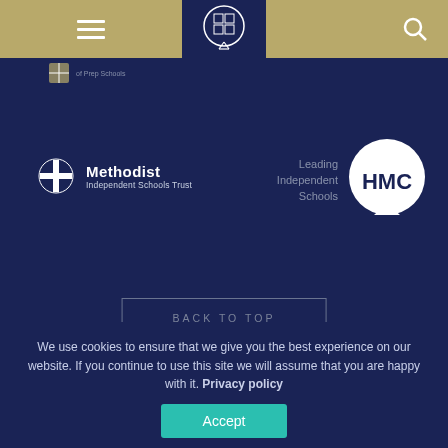Navigation bar with hamburger menu, school crest, and search icon
[Figure (logo): Prep Schools association logo with text 'of Prep Schools']
[Figure (logo): Methodist Independent Schools Trust logo with cross symbol]
[Figure (logo): HMC Leading Independent Schools logo with speech bubble circle]
BACK TO TOP
We use cookies to ensure that we give you the best experience on our website. If you continue to use this site we will assume that you are happy with it. Privacy policy
Accept